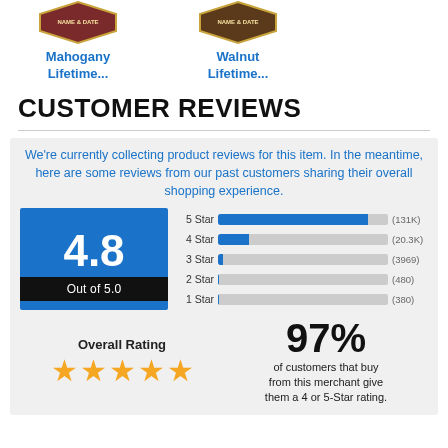[Figure (photo): Product badge icon for Mahogany Lifetime item]
Mahogany Lifetime...
[Figure (photo): Product badge icon for Walnut Lifetime item]
Walnut Lifetime...
CUSTOMER REVIEWS
We're currently collecting product reviews for this item. In the meantime, here are some reviews from our past customers sharing their overall shopping experience.
[Figure (bar-chart): Star Rating Distribution]
4.8
Out of 5.0
Overall Rating
97% of customers that buy from this merchant give them a 4 or 5-Star rating.